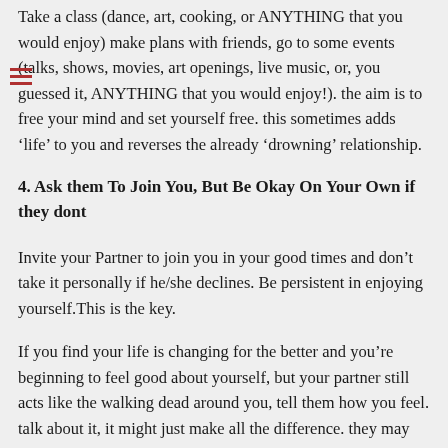Take a class (dance, art, cooking, or ANYTHING that you would enjoy) make plans with friends, go to some events (talks, shows, movies, art openings, live music, or, you guessed it, ANYTHING that you would enjoy!). the aim is to free your mind and set yourself free. this sometimes adds ‘life’ to you and reverses the already ‘drowning’ relationship.
4. Ask them To Join You, But Be Okay On Your Own if they dont
Invite your Partner to join you in your good times and don’t take it personally if he/she declines. Be persistent in enjoying yourself.This is the key.
If you find your life is changing for the better and you’re beginning to feel good about yourself, but your partner still acts like the walking dead around you, tell them how you feel. talk about it, it might just make all the difference. they may have